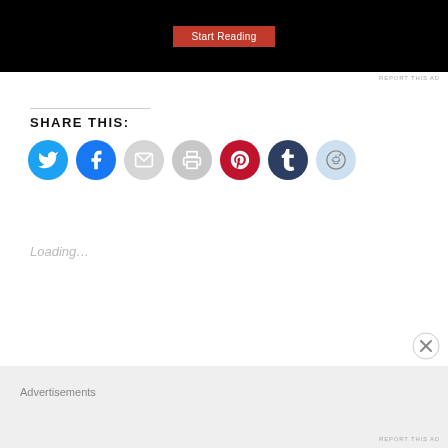[Figure (screenshot): Top portion of a book/app advertisement with dark background and red 'Start Reading' button]
REPORT THIS AD
SHARE THIS:
[Figure (infographic): Row of social sharing circular icon buttons: Twitter (blue), Facebook (blue), Email (gray), Print (gray), Pinterest (red), Tumblr (dark blue), Reddit (light blue)]
Loading...
Advertisements
REPORT THIS AD